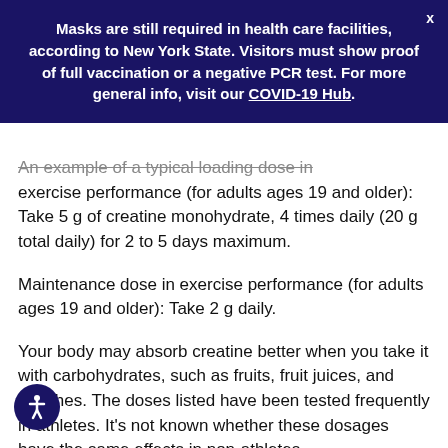Masks are still required in health care facilities, according to New York State. Visitors must show proof of full vaccination or a negative PCR test. For more general info, visit our COVID-19 Hub.
An example of a typical loading dose in exercise performance (for adults ages 19 and older): Take 5 g of creatine monohydrate, 4 times daily (20 g total daily) for 2 to 5 days maximum.
Maintenance dose in exercise performance (for adults ages 19 and older): Take 2 g daily.
Your body may absorb creatine better when you take it with carbohydrates, such as fruits, fruit juices, and starches. The doses listed have been tested frequently in athletes. It's not known whether these dosages have the same effects in non-athletes.